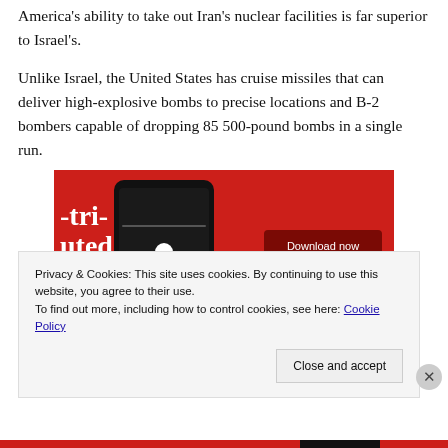America's ability to take out Iran's nuclear facilities is far superior to Israel's.
Unlike Israel, the United States has cruise missiles that can deliver high-explosive bombs to precise locations and B-2 bombers capable of dropping 85 500-pound bombs in a single run.
[Figure (screenshot): Advertisement screenshot showing a smartphone with a podcast/music app on a red background, with text '-tri-uted' and a 'Download now' button.]
Privacy & Cookies: This site uses cookies. By continuing to use this website, you agree to their use.
To find out more, including how to control cookies, see here: Cookie Policy
Close and accept